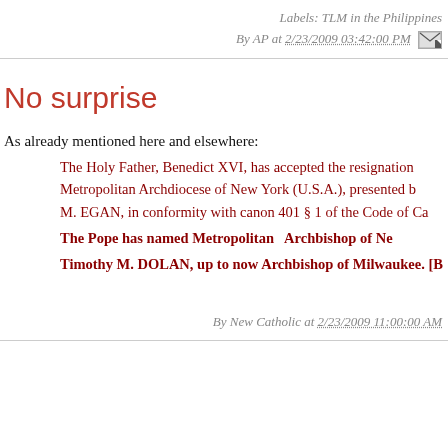Labels: TLM in the Philippines
By AP at 2/23/2009 03:42:00 PM
No surprise
As already mentioned here and elsewhere:
The Holy Father, Benedict XVI, has accepted the resignation of the Metropolitan Archdiocese of New York (U.S.A.), presented by M. EGAN, in conformity with canon 401 § 1 of the Code of Ca... The Pope has named Metropolitan Archbishop of Ne... Timothy M. DOLAN, up to now Archbishop of Milwaukee. [B...
By New Catholic at 2/23/2009 11:00:00 AM